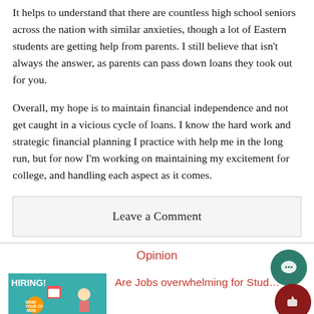It helps to understand that there are countless high school seniors across the nation with similar anxieties, though a lot of Eastern students are getting help from parents. I still believe that isn't always the answer, as parents can pass down loans they took out for you.
Overall, my hope is to maintain financial independence and not get caught in a vicious cycle of loans. I know the hard work and strategic financial planning I practice with help me in the long run, but for now I'm working on maintaining my excitement for college, and handling each aspect as it comes.
Leave a Comment
Opinion
[Figure (illustration): Hiring advertisement image with teal background showing a person and text 'HIRING! SEND YOUR CV NOW']
Are Jobs overwhelming for Stud...